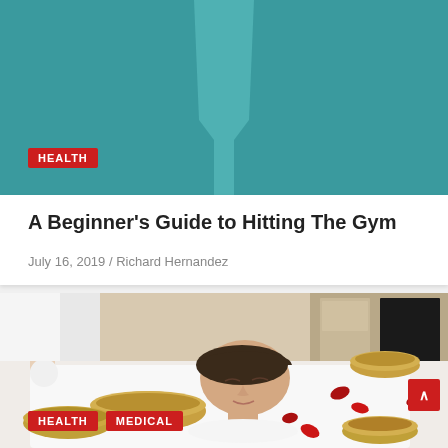[Figure (photo): Teal/turquoise banner background with a lighter teal decorative shape in the center]
HEALTH
A Beginner's Guide to Hitting The Gym
July 16, 2019 / Richard Hernandez
[Figure (photo): Woman lying on a spa table wrapped in white towels, surrounded by gold singing bowls and red rose petals, with a therapist standing behind her]
HEALTH
MEDICAL